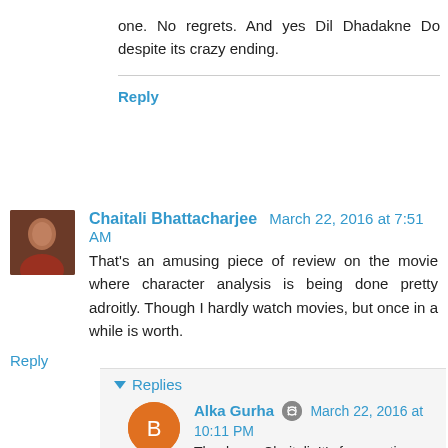one. No regrets. And yes Dil Dhadakne Do despite its crazy ending.
Reply
Chaitali Bhattacharjee  March 22, 2016 at 7:51 AM
That's an amusing piece of review on the movie where character analysis is being done pretty adroitly. Though I hardly watch movies, but once in a while is worth.
Reply
Replies
Alka Gurha  March 22, 2016 at 10:11 PM
Thank you Chaitali. It's fun one time watch.
Reply